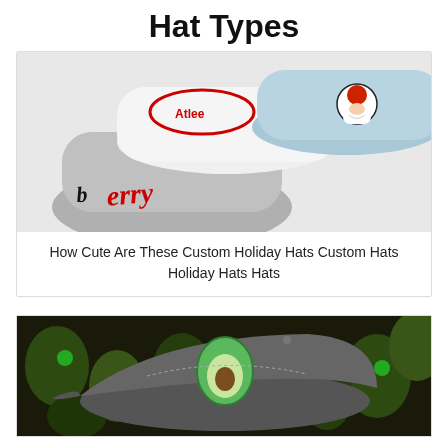Hat Types
[Figure (photo): Three custom holiday hats including a white hat with red team logo, a gray beanie with script lettering, and a light blue cap with Santa Claus patch embroidery]
How Cute Are These Custom Holiday Hats Custom Hats Holiday Hats Hats
[Figure (photo): A gray baseball cap with an avocado embroidery patch on the front, surrounded by avocados in the background]